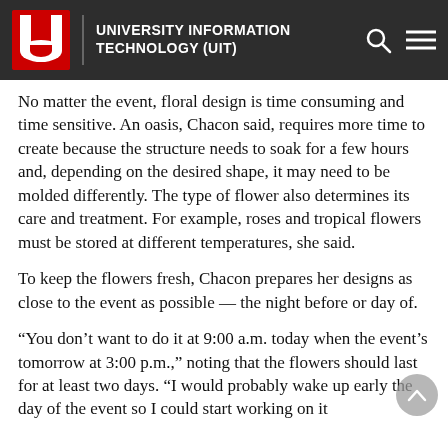UNIVERSITY INFORMATION TECHNOLOGY (UIT)
No matter the event, floral design is time consuming and time sensitive. An oasis, Chacon said, requires more time to create because the structure needs to soak for a few hours and, depending on the desired shape, it may need to be molded differently. The type of flower also determines its care and treatment. For example, roses and tropical flowers must be stored at different temperatures, she said.
To keep the flowers fresh, Chacon prepares her designs as close to the event as possible — the night before or day of.
“You don’t want to do it at 9:00 a.m. today when the event’s tomorrow at 3:00 p.m.,” noting that the flowers should last for at least two days. “I would probably wake up early the day of the event so I could start working on it